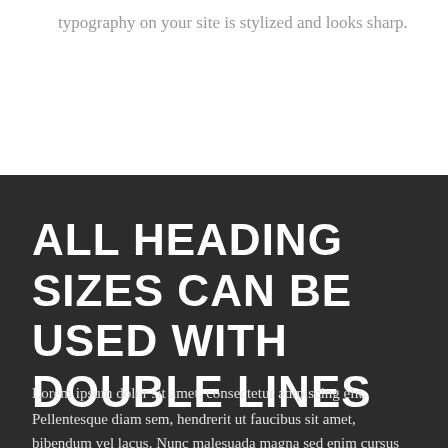typography on your site is stylized and looks sharp.
ALL HEADING SIZES CAN BE USED WITH DOUBLE LINES
Lorem ipsum dolor sit amet, consectetur adipiscing elit.
Pellentesque diam sem, hendrerit ut faucibus sit amet,
bibendum vel lacus. Nunc malesuada magna sed enim cursus